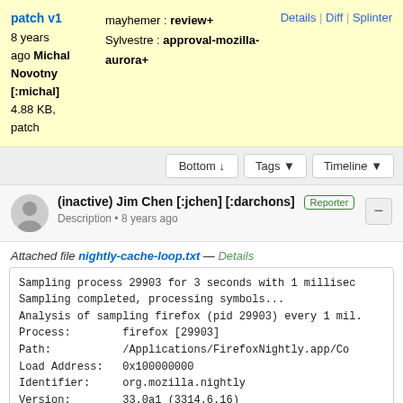patch v1 | 8 years ago Michal Novotny [:michal] 4.88 KB, patch | mayhemer: review+ | Sylvestre: approval-mozilla-aurora+ | Details | Diff | Splinter
Bottom | Tags | Timeline
(inactive) Jim Chen [:jchen] [:darchons] Reporter — Description • 8 years ago
Attached file nightly-cache-loop.txt — Details
Sampling process 29903 for 3 seconds with 1 millisec
Sampling completed, processing symbols...
Analysis of sampling firefox (pid 29903) every 1 mil.
Process:        firefox [29903]
Path:           /Applications/FirefoxNightly.app/Co
Load Address:   0x100000000
Identifier:     org.mozilla.nightly
Version:        33.0a1 (3314.6.16)
Code Type:      X86_64 (Native)